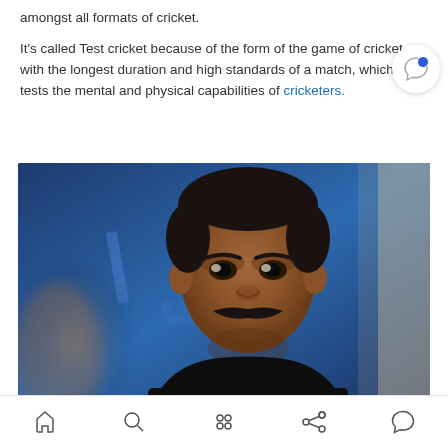amongst all formats of cricket.

It's called Test cricket because of the form of the game of cricket with the longest duration and high standards of a match, which tests the mental and physical capabilities of cricketers.
[Figure (photo): Close-up photo of a middle-aged man with dark hair and a mustache, wearing a dark jacket, with a blue background featuring a partial logo or text.]
Navigation bar with home, search, grid, share, and chat icons